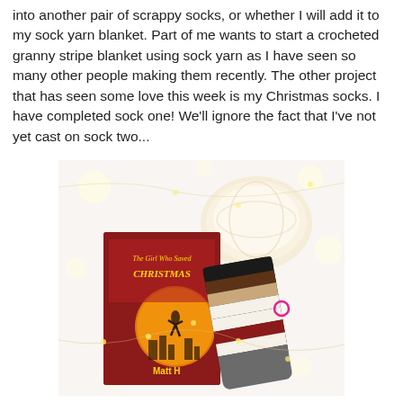into another pair of scrappy socks, or whether I will add it to my sock yarn blanket. Part of me wants to start a crocheted granny stripe blanket using sock yarn as I have seen so many other people making them recently. The other project that has seen some love this week is my Christmas socks. I have completed sock one! We'll ignore the fact that I've not yet cast on sock two...
[Figure (photo): Photo of a book titled 'The Girl Who Saved Christmas' by Matt Haig, alongside a skein of cream/white yarn and a striped knitted sock with stripes in black, brown, tan, cream, red, and grey colours, all laid on a white surface with fairy lights.]